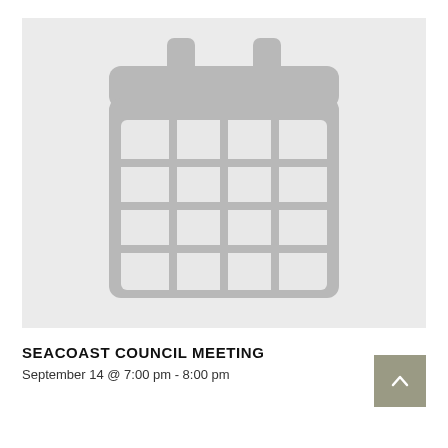[Figure (illustration): A large grey calendar icon on a light grey background. The calendar shows a grid of cells (4 columns x 3 rows) representing days, with two hanger tabs at the top.]
SEACOAST COUNCIL MEETING
September 14 @ 7:00 pm - 8:00 pm
[Figure (other): Small grey square button with an upward-pointing caret/arrow icon.]